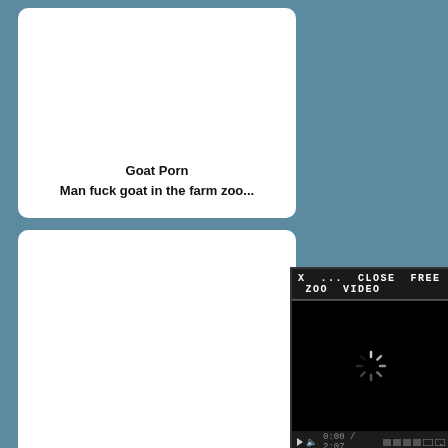[Figure (screenshot): White card with bold text: 'Goat Porn / Man fuck goat in the farm zoo...']
[Figure (screenshot): White card (mostly blank)]
[Figure (screenshot): White card with partially visible text: 'Zo... / Taboo Uncens...']
[Figure (screenshot): White card (bottom, mostly blank)]
[Figure (screenshot): Video player overlay with title bar 'X ... CLOSE FREE ZOO VIDEO', black video body with loading spinner, and video controls showing 0:00 / 2:07]